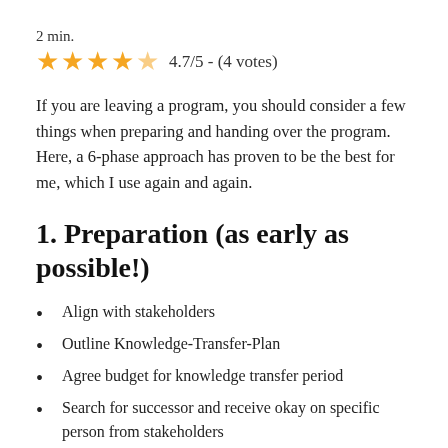2 min.
[Figure (other): Star rating: 4.7/5 - (4 votes) with 5 orange stars partially filled]
If you are leaving a program, you should consider a few things when preparing and handing over the program. Here, a 6-phase approach has proven to be the best for me, which I use again and again.
1. Preparation (as early as possible!)
Align with stakeholders
Outline Knowledge-Transfer-Plan
Agree budget for knowledge transfer period
Search for successor and receive okay on specific person from stakeholders
Confirm final start date of successor (adont…